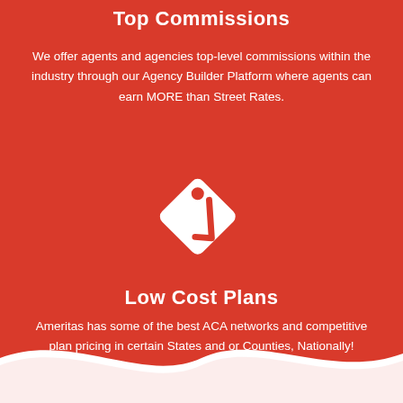Top Commissions
We offer agents and agencies top-level commissions within the industry through our Agency Builder Platform where agents can earn MORE than Street Rates.
[Figure (illustration): White price tag icon with a checkmark, on a red background]
Low Cost Plans
Ameritas has some of the best ACA networks and competitive plan pricing in certain States and or Counties, Nationally!